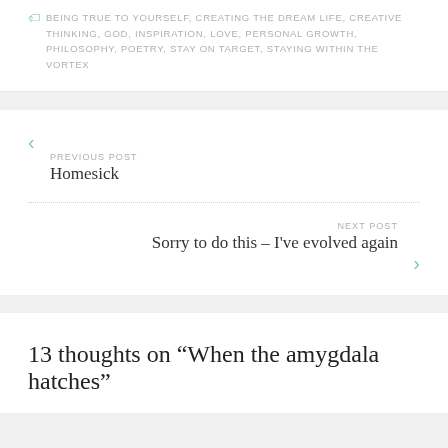BEING TRUE TO YOURSELF, CREATING THE DREAM LIFE, CREATIVE THINKING, GOD, INSPIRATION, LOVE, PERSONAL GROWTH, PHILOSOPHY, POETRY, STAY ON TARGET, STAYING WITHIN THE VORTEX
PREVIOUS POST
Homesick
NEXT POST
Sorry to do this – I've evolved again
13 thoughts on “When the amygdala hatches”